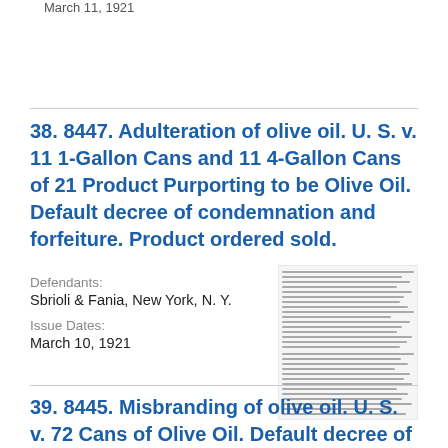March 11, 1921
38. 8447. Adulteration of olive oil. U. S. v. 11 1-Gallon Cans and 11 4-Gallon Cans of 21 Product Purporting to be Olive Oil. Default decree of condemnation and forfeiture. Product ordered sold.
Defendants:
Sbrioli & Fania, New York, N. Y.
Issue Dates:
March 10, 1921
[Figure (photo): Thumbnail image of a legal document with dense text]
39. 8445. Misbranding of olive oil. U. S. v. 72 Cans of Olive Oil. Default decree of